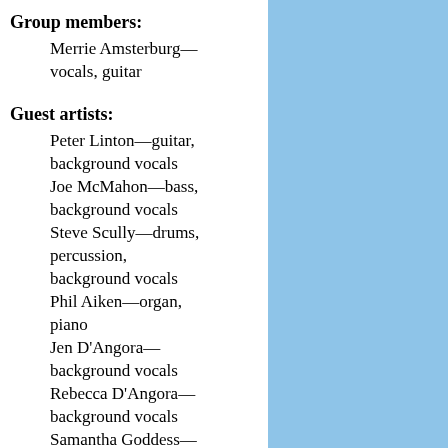Group members:
Merrie Amsterburg—vocals, guitar
Guest artists:
Peter Linton—guitar, background vocals
Joe McMahon—bass, background vocals
Steve Scully—drums, percussion, background vocals
Phil Aiken—organ, piano
Jen D'Angora—background vocals
Rebecca D'Angora—background vocals
Samantha Goddess—background vocals
The Kings:
Dennis Brennan—Balthazaar
Chandler Travis—